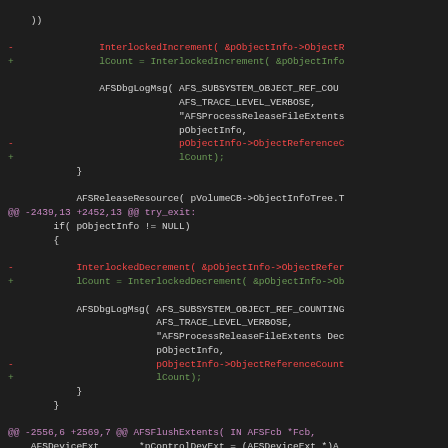[Figure (screenshot): Code diff view showing changes to AFS driver source code. Red lines show removed code, green lines show added code, magenta lines show diff hunk headers. Dark background IDE-style view.]